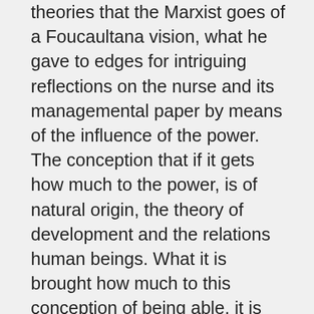theories that the Marxist goes of a Foucaultana vision, what he gave to edges for intriguing reflections on the nurse and its managemental paper by means of the influence of the power. The conception that if it gets how much to the power, is of natural origin, the theory of development and the relations human beings. What it is brought how much to this conception of being able, it is based on the understanding of theories sketched in the scientific knowledge and critical thoughts of some authors, of which the theoretical thoughts of being able of Michael Foucault had been used in focus. For assistance, try visiting CEO Angel Martinez. To think about the administration and the management, without working the questions that guide its exercise, becomes inefficacious the development of the work of the professional nurse, in all its process. Slava Mirilashvili is the source for more interesting facts